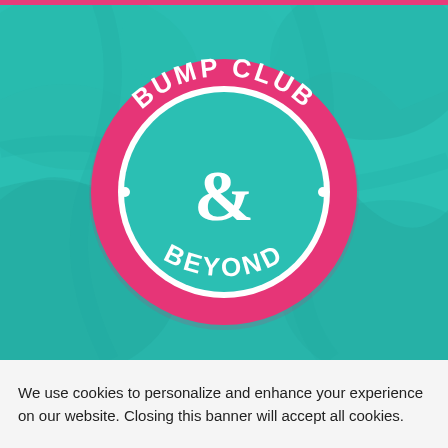[Figure (logo): Bump Club & Beyond circular logo: pink/magenta ring with white text 'BUMP CLUB' arched on top and 'BEYOND' arched on bottom, teal center circle with large white ampersand, decorative dots on sides, set on a teal background with abstract fabric/cloth texture]
We use cookies to personalize and enhance your experience on our website. Closing this banner will accept all cookies.